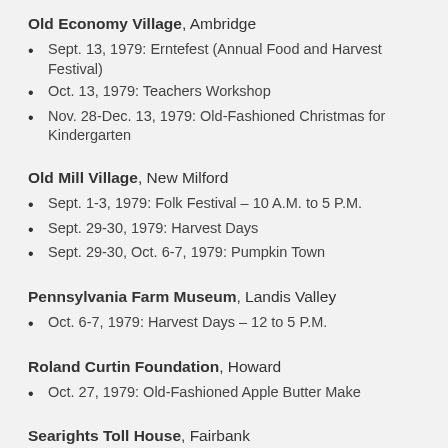Old Economy Village, Ambridge
Sept. 13, 1979: Erntefest (Annual Food and Harvest Festival)
Oct. 13, 1979: Teachers Workshop
Nov. 28-Dec. 13, 1979: Old-Fashioned Christmas for Kindergarten
Old Mill Village, New Milford
Sept. 1-3, 1979: Folk Festival – 10 A.M. to 5 P.M.
Sept. 29-30, 1979: Harvest Days
Sept. 29-30, Oct. 6-7, 1979: Pumpkin Town
Pennsylvania Farm Museum, Landis Valley
Oct. 6-7, 1979: Harvest Days – 12 to 5 P.M.
Roland Curtin Foundation, Howard
Oct. 27, 1979: Old-Fashioned Apple Butter Make
Searights Toll House, Fairbank
Oct. 22, 1979: Fall Foliage